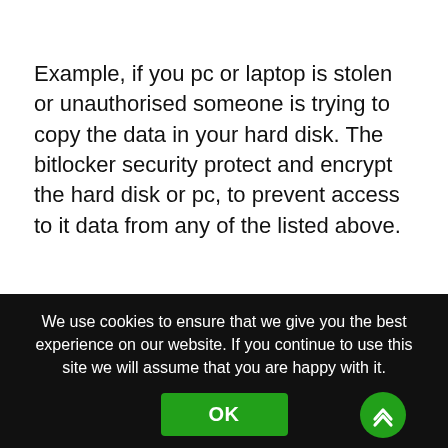Example, if you pc or laptop is stolen or unauthorised someone is trying to copy the data in your hard disk. The bitlocker security protect and encrypt the hard disk or pc, to prevent access to it data from any of the listed above.
We use cookies to ensure that we give you the best experience on our website. If you continue to use this site we will assume that you are happy with it.